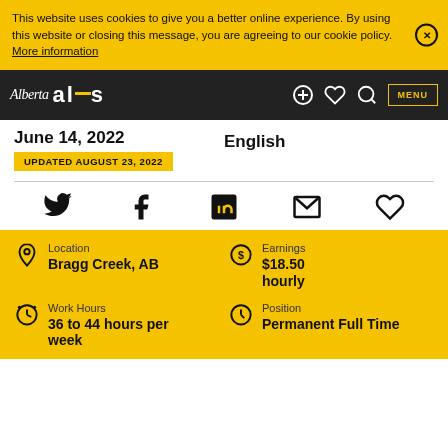This website uses cookies to give you a better online experience. By using this website or closing this message, you are agreeing to our cookie policy. More information
Alberta alis — navigation bar with MENU
June 14, 2022
UPDATED AUGUST 23, 2022
English
[Figure (infographic): Social share icons: Twitter, Facebook, LinkedIn, Email, Heart/Favorite]
| Location | Earnings |
| Bragg Creek, AB | $18.50 hourly |
| Work Hours | Position |
| 36 to 44 hours per week | Permanent Full Time |